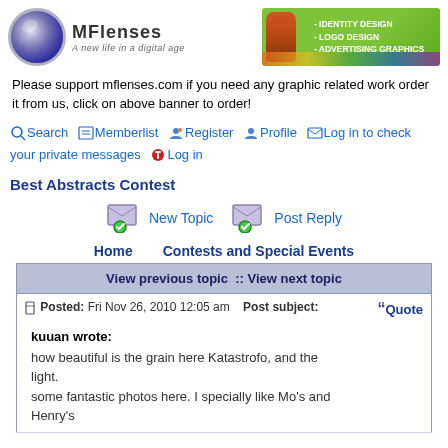[Figure (logo): MFlenses logo with camera lens icon and tagline 'A new life in a digital age']
[Figure (illustration): Banner advertisement: Identity Design, Logo Design, Advertising Graphics with lion and colorful logos]
Please support mflenses.com if you need any graphic related work order it from us, click on above banner to order!
🔍 Search 📋 Memberlist 👥 Register 👤 Profile ✉️ Log in to check your private messages 🔴 Log in
Best Abstracts Contest
[Figure (illustration): New Topic button with envelope icon]
[Figure (illustration): Post Reply button with envelope icon]
Home    Contests and Special Events
| View previous topic  ::  View next topic |
| --- |
| Posted: Fri Nov 26, 2010 12:05 am   Post subject: | Quote |
| kuuan wrote:
how beautiful is the grain here Katastrofo, and the light.
some fantastic photos here. I specially like Mo's and Henry's |  |